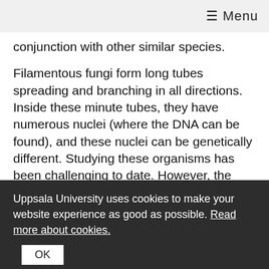≡ Menu
conjunction with other similar species.
Filamentous fungi form long tubes spreading and branching in all directions. Inside these minute tubes, they have numerous nuclei (where the DNA can be found), and these nuclei can be genetically different. Studying these organisms has been challenging to date. However, the novel method described by Montoliu Nerín and co-authors provides an effective solution to this problem. Together with SciLifeLab, a research infrastructure for molecular biosciences, they have developed a sophisticated procedure to isolate individual nuclei and applied DNA sequencing tools to them. The level of sensitivity they have
Uppsala University uses cookies to make your website experience as good as possible. Read more about cookies.
OK